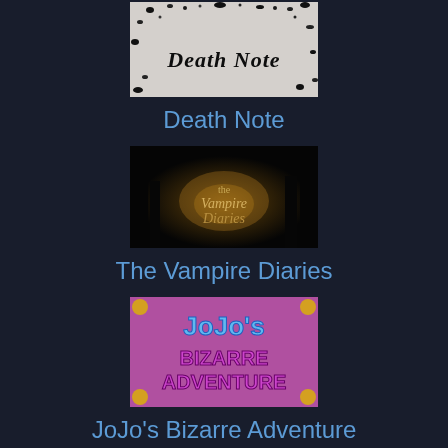[Figure (illustration): Death Note title card - black and white spattered ink background with stylized 'Death Note' text in gothic/horror font]
Death Note
[Figure (illustration): The Vampire Diaries title card - dark forest background with golden glow and 'the Vampire Diaries' text in stylized font]
The Vampire Diaries
[Figure (illustration): JoJo's Bizarre Adventure title card - colorful logo with purple and blue 'JoJo's' text and 'BIZARRE ADVENTURE' in block letters]
JoJo's Bizarre Adventure